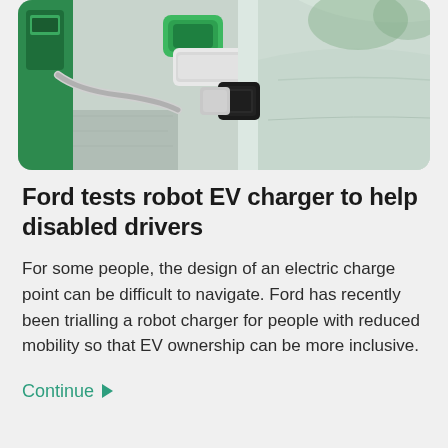[Figure (photo): Close-up photo of a green electric vehicle charging connector plugged into a white car at an EV charge point, with a green charging station visible in the background.]
Ford tests robot EV charger to help disabled drivers
For some people, the design of an electric charge point can be difficult to navigate. Ford has recently been trialling a robot charger for people with reduced mobility so that EV ownership can be more inclusive.
Continue ▶